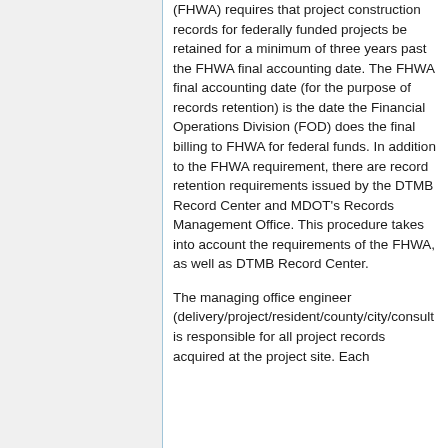(FHWA) requires that project construction records for federally funded projects be retained for a minimum of three years past the FHWA final accounting date. The FHWA final accounting date (for the purpose of records retention) is the date the Financial Operations Division (FOD) does the final billing to FHWA for federal funds. In addition to the FHWA requirement, there are record retention requirements issued by the DTMB Record Center and MDOT's Records Management Office. This procedure takes into account the requirements of the FHWA, as well as DTMB Record Center.
The managing office engineer (delivery/project/resident/county/city/consultant) is responsible for all project records acquired at the project site. Each...